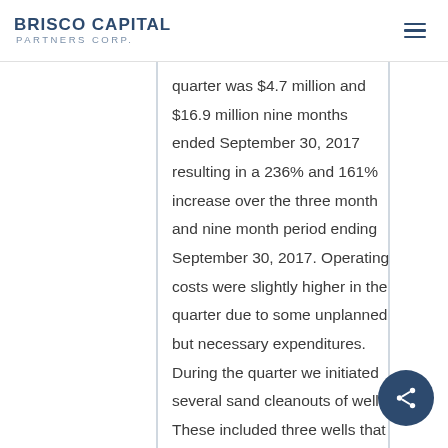BRISCO CAPITAL PARTNERS CORP.
quarter was $4.7 million and $16.9 million nine months ended September 30, 2017 resulting in a 236% and 161% increase over the three month and nine month period ending September 30, 2017. Operating costs were slightly higher in the quarter due to some unplanned but necessary expenditures. During the quarter we initiated several sand cleanouts of wells. These included three wells that were sanded in by third party fracture completion operations on offsetting lands. As well, high production rates from some of